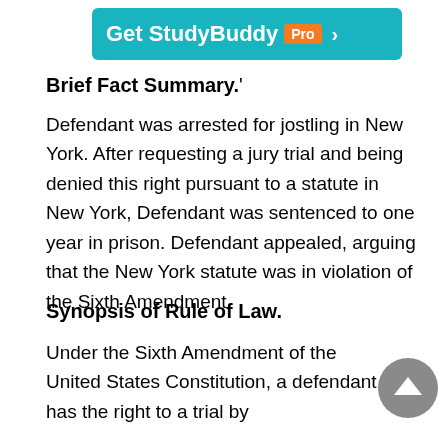[Figure (other): Teal banner advertisement for StudyBuddy Pro with arrow]
Brief Fact Summary.'
Defendant was arrested for jostling in New York. After requesting a jury trial and being denied this right pursuant to a statute in New York, Defendant was sentenced to one year in prison. Defendant appealed, arguing that the New York statute was in violation of the Sixth Amendment.
Synopsis of Rule of Law.
Under the Sixth Amendment of the United States Constitution, a defendant has the right to a trial by